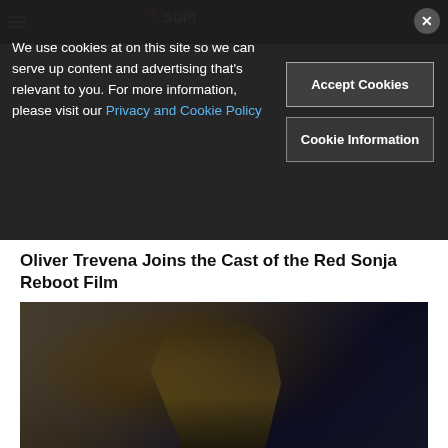SuperHeroHype
We use cookies at on this site so we can serve up content and advertising that's relevant to you. For more information, please visit our Privacy and Cookie Policy
Accept Cookies
Cookie Information
Oliver Trevena Joins the Cast of the Red Sonja Reboot Film
[Figure (photo): A female character in gold and black armor holding a weapon, rendered in a dark superhero game visual style, likely from Marvel's Midnight Suns.]
New Midnight Suns Character Preview Introduces The Hunter